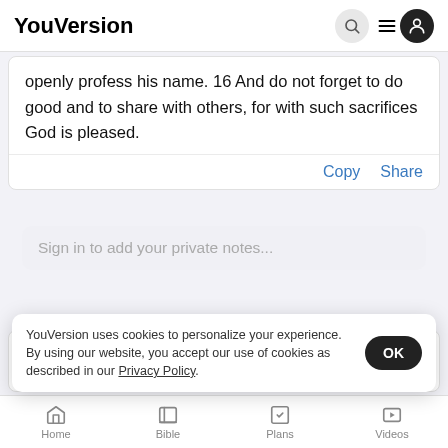YouVersion
openly profess his name. 16 And do not forget to do good and to share with others, for with such sacrifices God is pleased.
Copy  Share
Sign in to add your private notes...
Psalm
6 Con... before...
YouVersion uses cookies to personalize your experience. By using our website, you accept our use of cookies as described in our Privacy Policy.
Home  Bible  Plans  Videos